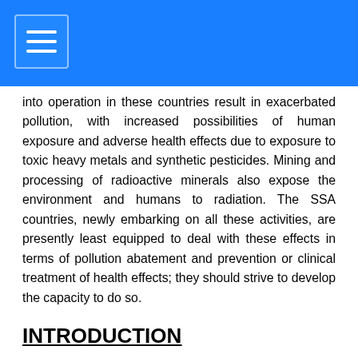into operation in these countries result in exacerbated pollution, with increased possibilities of human exposure and adverse health effects due to exposure to toxic heavy metals and synthetic pesticides. Mining and processing of radioactive minerals also expose the environment and humans to radiation. The SSA countries, newly embarking on all these activities, are presently least equipped to deal with these effects in terms of pollution abatement and prevention or clinical treatment of health effects; they should strive to develop the capacity to do so.
INTRODUCTION